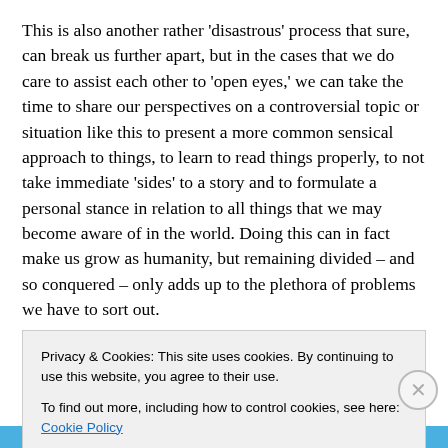This is also another rather ‘disastrous’ process that sure, can break us further apart, but in the cases that we do care to assist each other to ‘open eyes,’ we can take the time to share our perspectives on a controversial topic or situation like this to present a more common sensical approach to things, to learn to read things properly, to not take immediate ‘sides’ to a story and to formulate a personal stance in relation to all things that we may become aware of in the world. Doing this can in fact make us grow as humanity, but remaining divided – and so conquered – only adds up to the plethora of problems we have to sort out.
Based on the situation I explained in my previous blog, I became aware of people that came in contact with the information and created a conflict with one another for not
Privacy & Cookies: This site uses cookies. By continuing to use this website, you agree to their use.
To find out more, including how to control cookies, see here: Cookie Policy
Close and accept